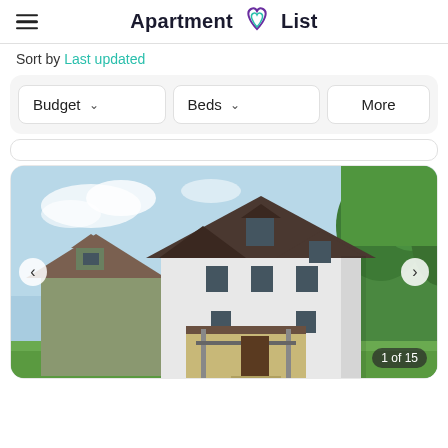Apartment List
Sort by Last updated
Budget  Beds  More
[Figure (photo): Exterior photo of a two-story white house with dark roof, front porch, and trees in background. Navigation arrows on left and right sides. Counter showing '1 of 15' in bottom right.]